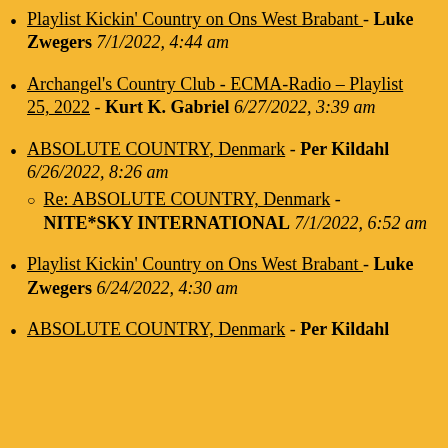Playlist Kickin' Country on Ons West Brabant - Luke Zwegers 7/1/2022, 4:44 am
Archangel's Country Club - ECMA-Radio – Playlist 25, 2022 - Kurt K. Gabriel 6/27/2022, 3:39 am
ABSOLUTE COUNTRY, Denmark - Per Kildahl 6/26/2022, 8:26 am
Re: ABSOLUTE COUNTRY, Denmark - NITE*SKY INTERNATIONAL 7/1/2022, 6:52 am
Playlist Kickin' Country on Ons West Brabant - Luke Zwegers 6/24/2022, 4:30 am
ABSOLUTE COUNTRY, Denmark - Per Kildahl